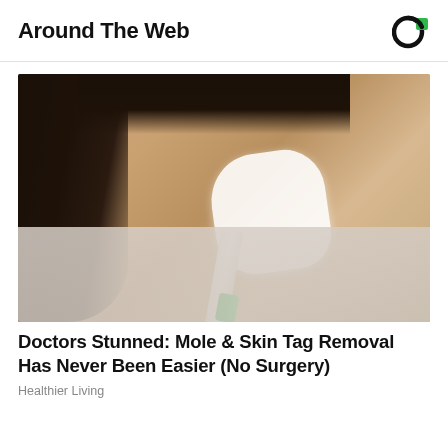Around The Web
[Figure (photo): Young Asian woman applying white cream to her nose with a toothbrush, looking upward, wearing a patterned shirt]
Doctors Stunned: Mole & Skin Tag Removal Has Never Been Easier (No Surgery)
Healthier Living